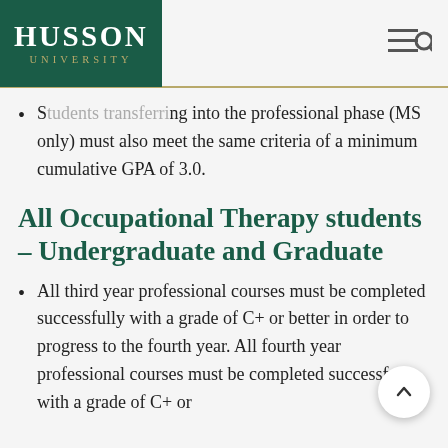Husson University
Students transferring into the professional phase (MS only) must also meet the same criteria of a minimum cumulative GPA of 3.0.
All Occupational Therapy students – Undergraduate and Graduate
All third year professional courses must be completed successfully with a grade of C+ or better in order to progress to the fourth year. All fourth year professional courses must be completed successfully with a grade of C+ or